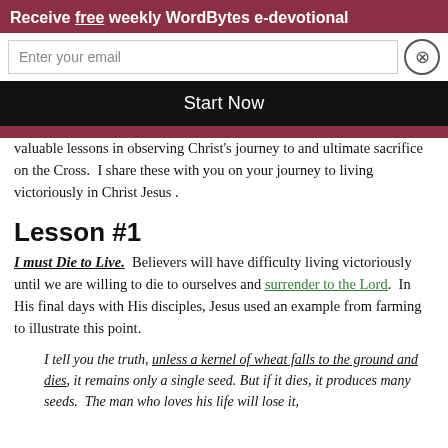It's been said that life is a giant classroom in which we can experience and grow...success in learning is our willingness to learn.
[Figure (screenshot): Email signup popup overlay with dark red background header 'Receive free weekly WordBytes e-devotional', email input field, close button, and black 'Start Now' button]
As...three valuable lessons in observing Christ's journey to and ultimate sacrifice on the Cross. I share these with you on your journey to living victoriously in Christ Jesus.
Lesson #1
I must Die to Live. Believers will have difficulty living victoriously until we are willing to die to ourselves and surrender to the Lord. In His final days with His disciples, Jesus used an example from farming to illustrate this point.
I tell you the truth, unless a kernel of wheat falls to the ground and dies, it remains only a single seed. But if it dies, it produces many seeds. The man who loves his life will lose it,